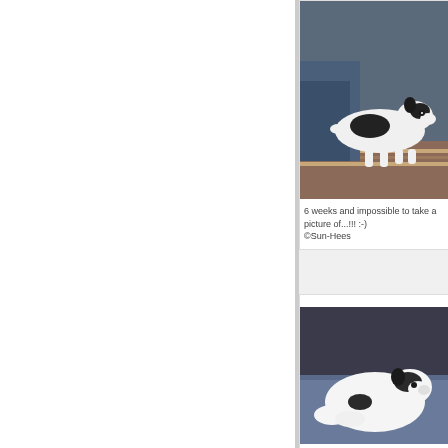[Figure (photo): Black and white dog (likely a Boston Terrier or similar breed) standing on a rug, viewed from the side. A person in jeans is partially visible in the background.]
6 weeks and impossible to take a picture of...!!! :-)
©Sun-Hees
[Figure (photo): Black and white puppy lying down on a blue surface, very young (1 week old), photographed from above/side.]
1 week